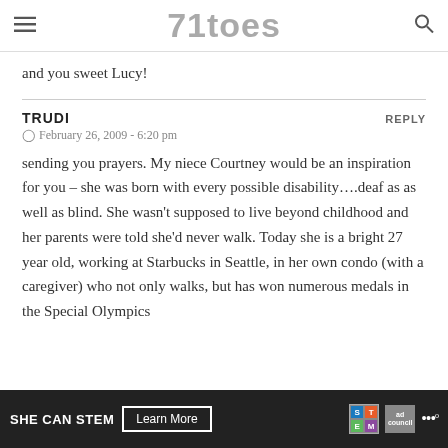71toes
and you sweet Lucy!
TRUDI
February 26, 2009 - 6:20 pm
sending you prayers. My niece Courtney would be an inspiration for you – she was born with every possible disability….deaf as as well as blind. She wasn't supposed to live beyond childhood and her parents were told she'd never walk. Today she is a bright 27 year old, working at Starbucks in Seattle, in her own condo (with a caregiver) who not only walks, but has won numerous medals in the Special Olympics
[Figure (other): Advertisement banner: SHE CAN STEM with Learn More button and STEM, Ad Council, and other logos on dark background]